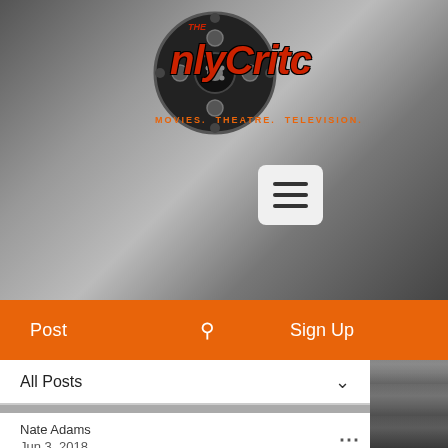[Figure (screenshot): Website header for 'The OnlyCritic' with film reel logo, tagline 'Movies. Theatre. Television.', hamburger menu button, orange navigation bar with Post, search icon, and Sign Up links, and film reel background image in black and white.]
Post   🔍   Sign Up
All Posts
Nate Adams
Jun 3, 2018
Review: Woodley's solid performance can't keep